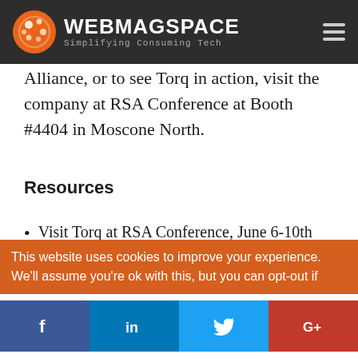WEBMAGSPACE – Simplifying Consuming Tech
Alliance, or to see Torq in action, visit the company at RSA Conference at Booth #4404 in Moscone North.
Resources
Visit Torq at RSA Conference, June 6-10th
Follow the Torq blog, or get in touch on Twitter or LinkedIn
Join the Torq Automation Alliance today
This website uses cookies to improve your experience. We'll assume you're ok with this, but you can opt-out if